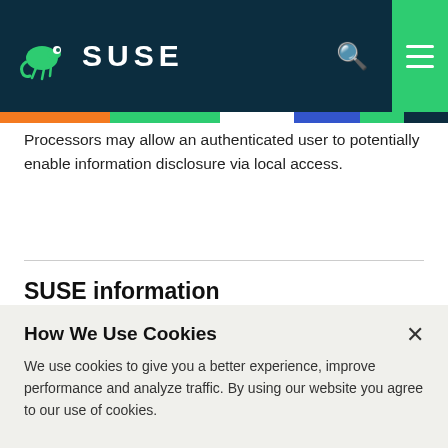SUSE
Processors may allow an authenticated user to potentially enable information disclosure via local access.
SUSE information
How We Use Cookies
We use cookies to give you a better experience, improve performance and analyze traffic. By using our website you agree to our use of cookies.
View and change cookie preferences >